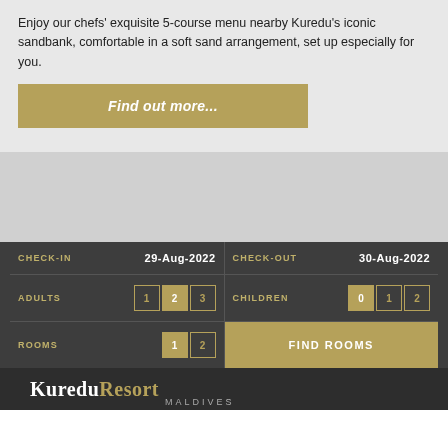Enjoy our chefs' exquisite 5-course menu nearby Kuredu's iconic sandbank, comfortable in a soft sand arrangement, set up especially for you.
Find out more...
| CHECK-IN | 29-Aug-2022 | CHECK-OUT | 30-Aug-2022 |
| --- | --- | --- | --- |
| ADULTS | 1 2 3 | CHILDREN | 0 1 2 |
| ROOMS | 1 2 | FIND ROOMS |  |
[Figure (logo): Kuredu Resort Maldives logo — white serif text 'Kuredu' followed by golden 'Resort' and small 'MALDIVES' text in grey]